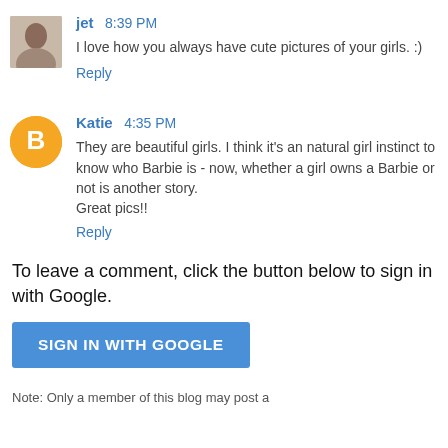jet 8:39 PM
I love how you always have cute pictures of your girls. :)
Reply
Katie 4:35 PM
They are beautiful girls. I think it's an natural girl instinct to know who Barbie is - now, whether a girl owns a Barbie or not is another story.
Great pics!!
Reply
To leave a comment, click the button below to sign in with Google.
SIGN IN WITH GOOGLE
Note: Only a member of this blog may post a